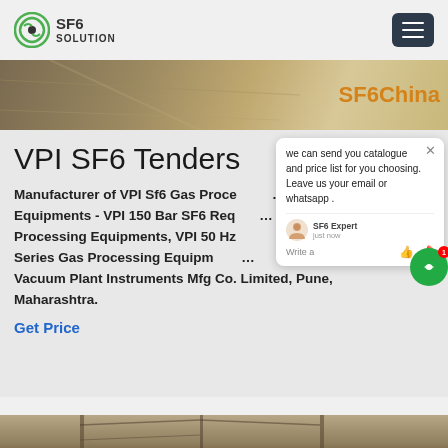SF6 SOLUTION
[Figure (screenshot): Banner image with SF6China text on sandy/earth toned background]
VPI SF6 Tenders
Manufacturer of VPI Sf6 Gas Processing Equipments - VPI 150 Bar SF6 Recovery & Processing Equipments, VPI 50 Hz Series Gas Processing Equipments offered by Vacuum Plant Instruments Mfg Co. Limited, Pune, Maharashtra.
Get Price
[Figure (screenshot): Chat popup with message: we can send you catalogue and price list for you choosing. Leave us your email or whatsapp. SF6 Expert, just now. Write a message area.]
[Figure (photo): Bottom image strip showing industrial/engineering structure]